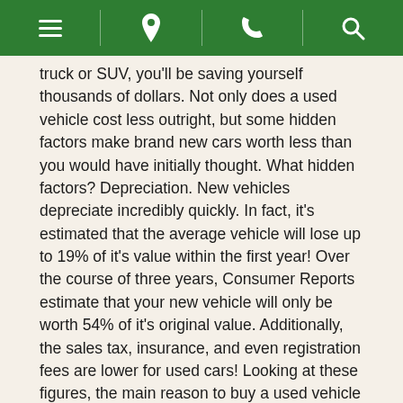[navigation icons: menu, location, phone, search]
truck or SUV, you'll be saving yourself thousands of dollars. Not only does a used vehicle cost less outright, but some hidden factors make brand new cars worth less than you would have initially thought. What hidden factors? Depreciation. New vehicles depreciate incredibly quickly. In fact, it's estimated that the average vehicle will lose up to 19% of it's value within the first year! Over the course of three years, Consumer Reports estimate that your new vehicle will only be worth 54% of it's original value. Additionally, the sales tax, insurance, and even registration fees are lower for used cars! Looking at these figures, the main reason to buy a used vehicle becomes increasingly more clear.
A common worry amongst perspective used car buyers is the safety of older vehicles. It seems like common sense to assume that a state-of-the-art vehicle surpasses used vehicles in the arena of safety. Actually, vehicles have been being built with extensive safety features for awhile now. In fact, most vehicles manufactured since 2009 have